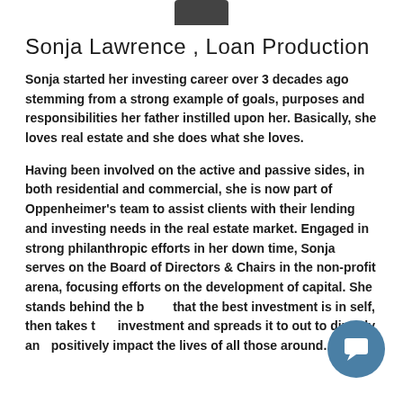[Figure (photo): Partial profile photo at top of page (cropped, bottom portion visible)]
Sonja Lawrence , Loan Production
Sonja started her investing career over 3 decades ago stemming from a strong example of goals, purposes and responsibilities her father instilled upon her. Basically, she loves real estate and she does what she loves.
Having been involved on the active and passive sides, in both residential and commercial, she is now part of Oppenheimer’s team to assist clients with their lending and investing needs in the real estate market. Engaged in strong philanthropic efforts in her down time, Sonja serves on the Board of Directors & Chairs in the non-profit arena, focusing efforts on the development of capital. She stands behind the belief that the best investment is in self, then takes that investment and spreads it to out to directly and positively impact the lives of all those around.